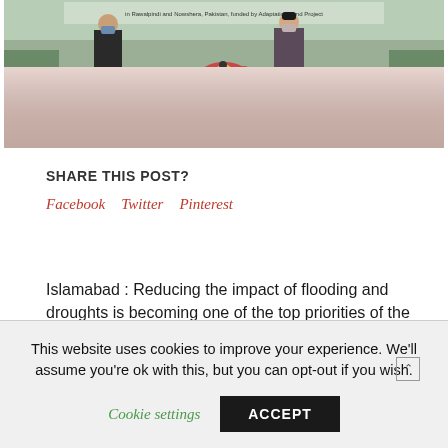[Figure (photo): Two people wearing masks seated at a head table with floral arrangement, in front of a banner mentioning Rawalpindi and Nowshera, Pakistan, Adaptation Fund Project. Pink/mauve tablecloth draped over the table.]
SHARE THIS POST?
Facebook   Twitter   Pinterest
Islamabad : Reducing the impact of flooding and droughts is becoming one of the top priorities of the
This website uses cookies to improve your experience. We'll assume you're ok with this, but you can opt-out if you wish.
Cookie settings    ACCEPT